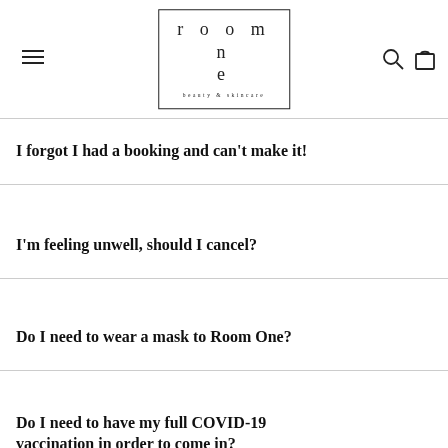room one beauty & skincare
I forgot I had a booking and can't make it!
I'm feeling unwell, should I cancel?
Do I need to wear a mask to Room One?
Do I need to have my full COVID-19 vaccination in order to come in?